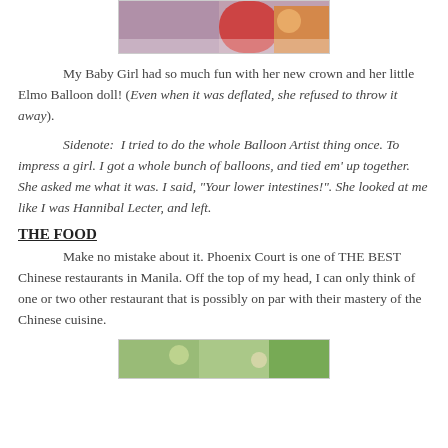[Figure (photo): Partial photo of a child with a crown and Elmo balloon doll, cropped at top]
My Baby Girl had so much fun with her new crown and her little Elmo Balloon doll! (Even when it was deflated, she refused to throw it away).
Sidenote:  I tried to do the whole Balloon Artist thing once. To impress a girl. I got a whole bunch of balloons, and tied em' up together. She asked me what it was. I said, "Your lower intestines!". She looked at me like I was Hannibal Lecter, and left.
THE FOOD
Make no mistake about it. Phoenix Court is one of THE BEST Chinese restaurants in Manila. Off the top of my head, I can only think of one or two other restaurant that is possibly on par with their mastery of the Chinese cuisine.
[Figure (photo): Partial photo of food, cropped at bottom of page]